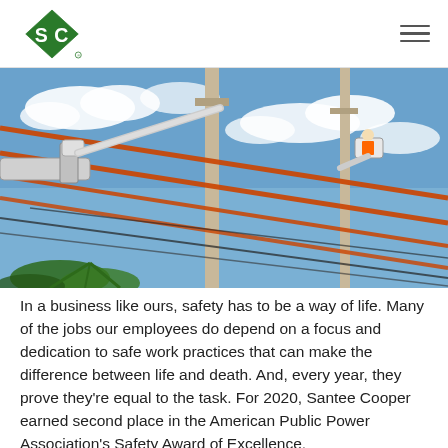Santee Cooper logo and navigation
[Figure (photo): Utility workers in a bucket truck working on overhead power lines against a blue sky with clouds. Orange-coated power lines cross the frame diagonally. Palm trees visible in lower corner.]
In a business like ours, safety has to be a way of life. Many of the jobs our employees do depend on a focus and dedication to safe work practices that can make the difference between life and death. And, every year, they prove they're equal to the task. For 2020, Santee Cooper earned second place in the American Public Power Association's Safety Award of Excellence.